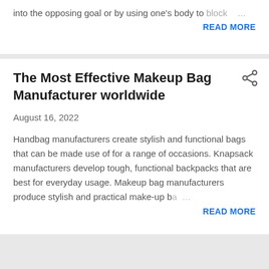into the opposing goal or by using one's body to block …
READ MORE
The Most Effective Makeup Bag Manufacturer worldwide
August 16, 2022
Handbag manufacturers create stylish and functional bags that can be made use of for a range of occasions. Knapsack manufacturers develop tough, functional backpacks that are best for everyday usage. Makeup bag manufacturers produce stylish and practical make-up ba…
READ MORE